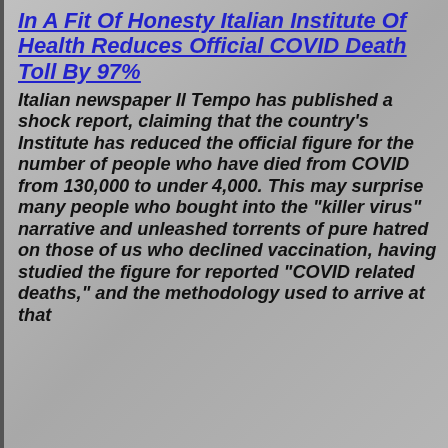In A Fit Of Honesty Italian Institute Of Health Reduces Official COVID Death Toll By 97%
Italian newspaper Il Tempo has published a shock report, claiming that the country's Institute has reduced the official figure for the number of people who have died from COVID from 130,000 to under 4,000. This may surprise many people who bought into the "killer virus" narrative and unleashed torrents of pure hatred on those of us who declined vaccination, having studied the figure for reported "COVID related deaths," and the methodology used to arrive at that